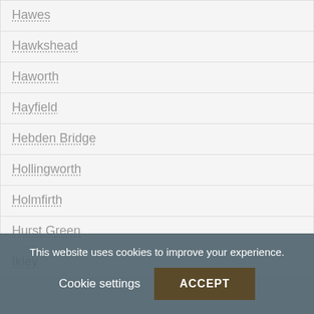Hawes
Hawkshead
Haworth
Hayfield
Hebden Bridge
Hollingworth
Holmfirth
Hurst Green
Ikley
This website uses cookies to improve your experience.
Cookie settings
ACCEPT